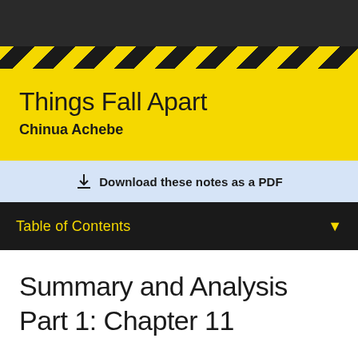Things Fall Apart
Chinua Achebe
Download these notes as a PDF
Table of Contents
Summary and Analysis Part 1: Chapter 11